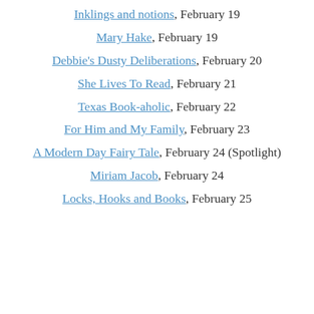Inklings and notions, February 19
Mary Hake, February 19
Debbie's Dusty Deliberations, February 20
She Lives To Read, February 21
Texas Book-aholic, February 22
For Him and My Family, February 23
A Modern Day Fairy Tale, February 24 (Spotlight)
Miriam Jacob, February 24
Locks, Hooks and Books, February 25